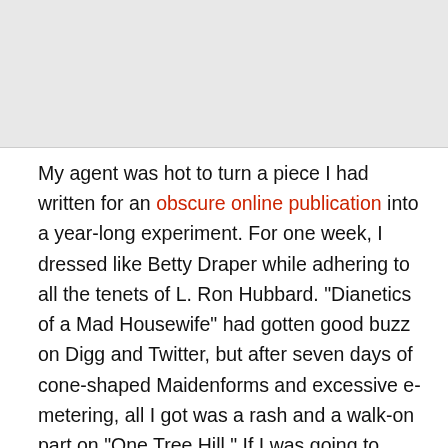[Figure (other): Gray placeholder/banner area at top of page]
My agent was hot to turn a piece I had written for an obscure online publication into a year-long experiment. For one week, I dressed like Betty Draper while adhering to all the tenets of L. Ron Hubbard. "Dianetics of a Mad Housewife" had gotten good buzz on Digg and Twitter, but after seven days of cone-shaped Maidenforms and excessive e-metering, all I got was a rash and a walk-on part on "One Tree Hill." If I was going to spend a year doing something, I wanted it to